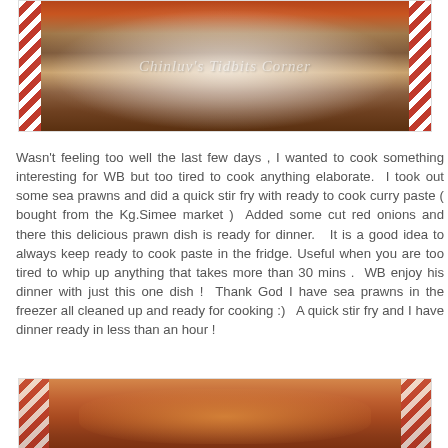[Figure (photo): Top photo of a prawn curry dish in a white bowl on a red and white striped cloth, with watermark text 'Chinluv's Tidbits Corner']
Wasn't feeling too well the last few days , I wanted to cook something interesting for WB but too tired to cook anything elaborate.  I took out some sea prawns and did a quick stir fry with ready to cook curry paste ( bought from the Kg.Simee market )  Added some cut red onions and there this delicious prawn dish is ready for dinner.   It is a good idea to always keep ready to cook paste in the fridge. Useful when you are too tired to whip up anything that takes more than 30 mins .  WB enjoy his dinner with just this one dish !  Thank God I have sea prawns in the freezer all cleaned up and ready for cooking :)   A quick stir fry and I have dinner ready in less than an hour !
[Figure (photo): Bottom photo showing close-up of cooked curry prawns with red and white striped cloth visible at edges]